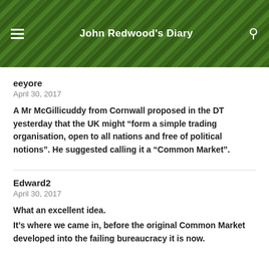John Redwood's Diary
eeyore
April 30, 2017
A Mr McGillicuddy from Cornwall proposed in the DT yesterday that the UK might “form a simple trading organisation, open to all nations and free of political notions”. He suggested calling it a “Common Market”.
Edward2
April 30, 2017
What an excellent idea.
It’s where we came in, before the original Common Market developed into the failing bureaucracy it is now.